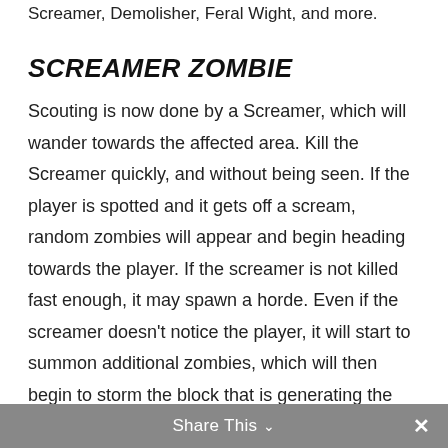Screamer, Demolisher, Feral Wight, and more.
SCREAMER ZOMBIE
Scouting is now done by a Screamer, which will wander towards the affected area. Kill the Screamer quickly, and without being seen. If the player is spotted and it gets off a scream, random zombies will appear and begin heading towards the player. If the screamer is not killed fast enough, it may spawn a horde. Even if the screamer doesn’t notice the player, it will start to summon additional zombies, which will then begin to storm the block that is generating the heat. And they will attack
Share This ∨